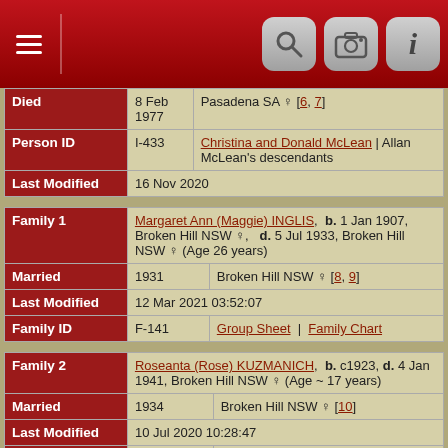| Died | 8 Feb 1977 | Pasadena SA ♀ [6, 7] |
| Person ID | I-433 | Christina and Donald McLean | Allan McLean's descendants |
| Last Modified | 16 Nov 2020 |  |
| Family 1 | Margaret Ann (Maggie) INGLIS, b. 1 Jan 1907, Broken Hill NSW ♀, d. 5 Jul 1933, Broken Hill NSW ♀ (Age 26 years) |  |
| Married | 1931 | Broken Hill NSW ♀ [8, 9] |
| Last Modified | 12 Mar 2021 03:52:07 |  |
| Family ID | F-141 | Group Sheet | Family Chart |
| Family 2 | Roseanta (Rose) KUZMANICH, b. c1923, d. 4 Jan 1941, Broken Hill NSW ♀ (Age ~ 17 years) |  |
| Married | 1934 | Broken Hill NSW ♀ [10] |
| Last Modified | 10 Jul 2020 10:28:47 |  |
| Family ID | F-2074 | Group Sheet | Family Chart |